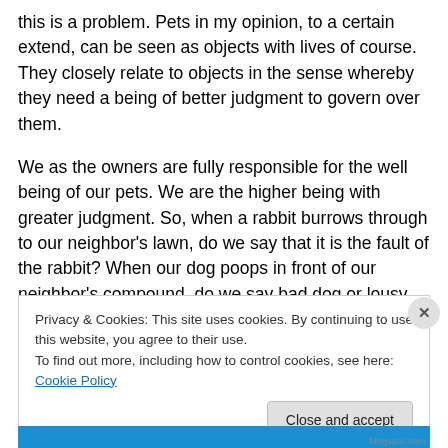this is a problem. Pets in my opinion, to a certain extend, can be seen as objects with lives of course. They closely relate to objects in the sense whereby they need a being of better judgment to govern over them.
We as the owners are fully responsible for the well being of our pets. We are the higher being with greater judgment. So, when a rabbit burrows through to our neighbor's lawn, do we say that it is the fault of the rabbit? When our dog poops in front of our neighbor's compound, do we say bad dog or lousy owner?
Privacy & Cookies: This site uses cookies. By continuing to use this website, you agree to their use.
To find out more, including how to control cookies, see here: Cookie Policy